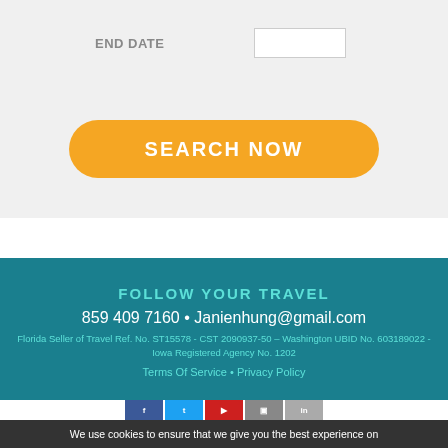END DATE
SEARCH NOW
FOLLOW YOUR TRAVEL
859 409 7160 • Janienhung@gmail.com
Florida Seller of Travel Ref. No. ST15578 - CST 2090937-50 – Washington UBID No. 603189022 - Iowa Registered Agency No. 1202
Terms Of Service • Privacy Policy
We use cookies to ensure that we give you the best experience on